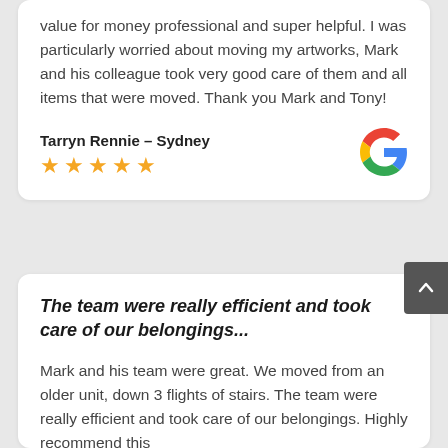value for money professional and super helpful. I was particularly worried about moving my artworks, Mark and his colleague took very good care of them and all items that were moved. Thank you Mark and Tony!
Tarryn Rennie – Sydney
[Figure (logo): Google logo G icon in multicolor (red, blue, yellow, green)]
The team were really efficient and took care of our belongings...
Mark and his team were great. We moved from an older unit, down 3 flights of stairs. The team were really efficient and took care of our belongings. Highly recommend this